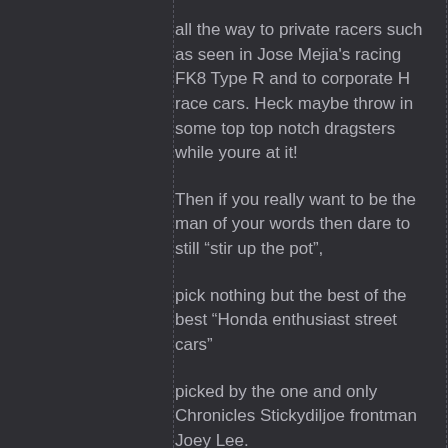all the way to private racers such as seen in Jose Mejia's racing FK8 Type R and to corporate H race cars. Heck maybe throw in some top top notch dragsters while youre at it!
Then if you really want to be the man of your words then dare to still “stir up the pot”,
pick nothing but the best of the best “Honda enthusiast street cars”
picked by the one and only Chronicles Stickydiljoe frontman Joey Lee.